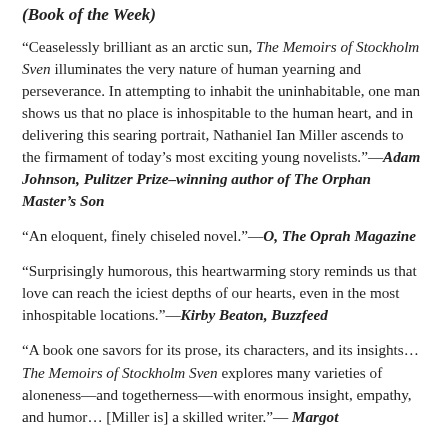(Book of the Week)
“Ceaselessly brilliant as an arctic sun, The Memoirs of Stockholm Sven illuminates the very nature of human yearning and perseverance. In attempting to inhabit the uninhabitable, one man shows us that no place is inhospitable to the human heart, and in delivering this searing portrait, Nathaniel Ian Miller ascends to the firmament of today’s most exciting young novelists.”—Adam Johnson, Pulitzer Prize–winning author of The Orphan Master’s Son
“An eloquent, finely chiseled novel.”—O, The Oprah Magazine
“Surprisingly humorous, this heartwarming story reminds us that love can reach the iciest depths of our hearts, even in the most inhospitable locations.”—Kirby Beaton, Buzzfeed
“A book one savors for its prose, its characters, and its insights… The Memoirs of Stockholm Sven explores many varieties of aloneness—and togetherness—with enormous insight, empathy, and humor… [Miller is] a skilled writer.”— Margot